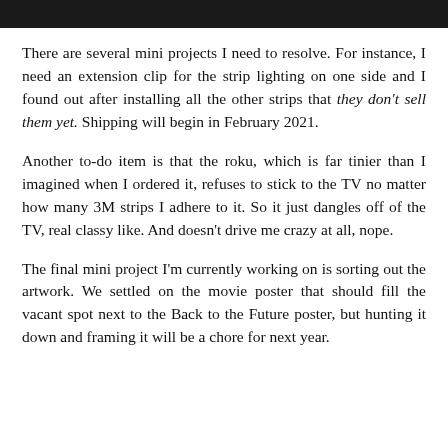[Figure (photo): Dark image strip at the top of the page]
There are several mini projects I need to resolve. For instance, I need an extension clip for the strip lighting on one side and I found out after installing all the other strips that they don't sell them yet. Shipping will begin in February 2021.
Another to-do item is that the roku, which is far tinier than I imagined when I ordered it, refuses to stick to the TV no matter how many 3M strips I adhere to it. So it just dangles off of the TV, real classy like. And doesn't drive me crazy at all, nope.
The final mini project I'm currently working on is sorting out the artwork. We settled on the movie poster that should fill the vacant spot next to the Back to the Future poster, but hunting it down and framing it will be a chore for next year.